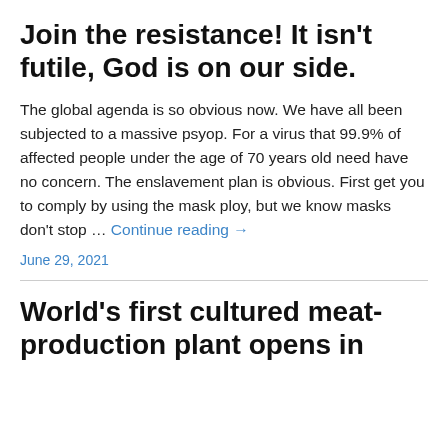Join the resistance! It isn't futile, God is on our side.
The global agenda is so obvious now. We have all been subjected to a massive psyop. For a virus that 99.9% of affected people under the age of 70 years old need have no concern. The enslavement plan is obvious. First get you to comply by using the mask ploy, but we know masks don't stop … Continue reading →
June 29, 2021
World's first cultured meat-production plant opens in